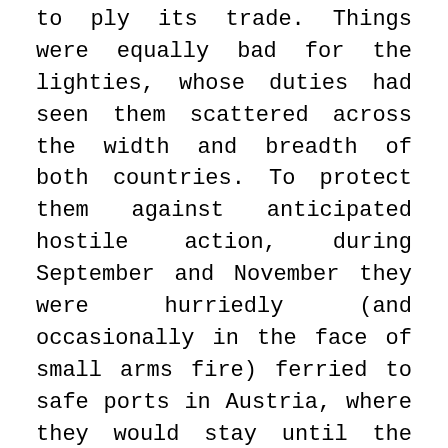to ply its trade. Things were equally bad for the lighties, whose duties had seen them scattered across the width and breadth of both countries. To protect them against anticipated hostile action, during September and November they were hurriedly (and occasionally in the face of small arms fire) ferried to safe ports in Austria, where they would stay until the following year.

To address the thorny issue of being an airline with no airliners to its name, CTN had in late 1991 and early 1992 made overtones with several manufacturers and various European airlines for the purchase of some